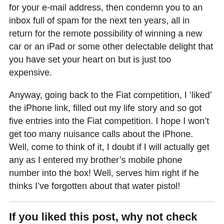for your e-mail address, then condemn you to an inbox full of spam for the next ten years, all in return for the remote possibility of winning a new car or an iPad or some other delectable delight that you have set your heart on but is just too expensive.
Anyway, going back to the Fiat competition, I ‘liked’ the iPhone link, filled out my life story and so got five entries into the Fiat competition. I hope I won’t get too many nuisance calls about the iPhone. Well, come to think of it, I doubt if I will actually get any as I entered my brother’s mobile phone number into the box! Well, serves him right if he thinks I’ve forgotten about that water pistol!
If you liked this post, why not check out my book? Click on the links at the top of